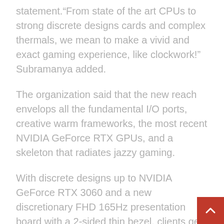statement.“From state of the art CPUs to strong discrete designs cards and complex thermals, we mean to make a vivid and exact gaming experience, like clockwork!” Subramanya added.
The organization said that the new reach envelops all the fundamental I/O ports, creative warm frameworks, the most recent NVIDIA GeForce RTX GPUs, and a skeleton that radiates jazzy gaming.
With discrete designs up to NVIDIA GeForce RTX 3060 and a new discretionary FHD 165Hz presentation board with a 2-sided thin bezel, clients get smooth, continuous ongoing interaction and striking visuals, making it simple to submerge in the game completely. Players